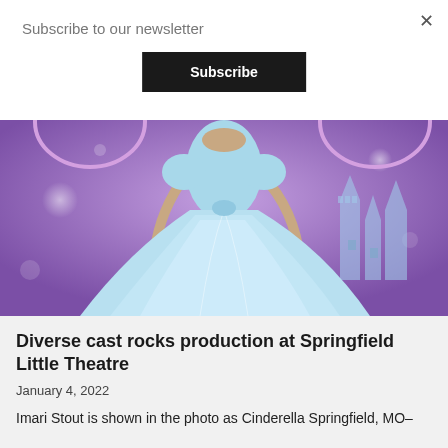Subscribe to our newsletter
Subscribe
×
[Figure (photo): A performer dressed as Cinderella in a light blue ball gown against a purple background with a castle silhouette]
Diverse cast rocks production at Springfield Little Theatre
January 4, 2022
Imari Stout is shown in the photo as Cinderella Springfield, MO–